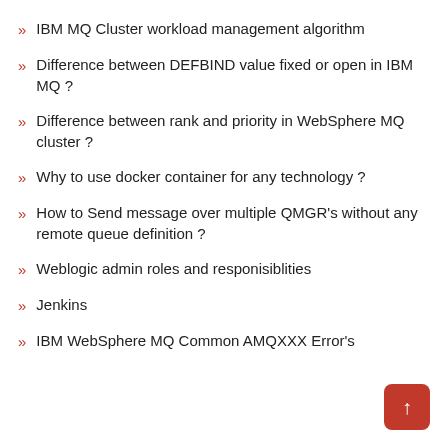IBM MQ Cluster workload management algorithm
Difference between DEFBIND value fixed or open in IBM MQ ?
Difference between rank and priority in WebSphere MQ cluster ?
Why to use docker container for any technology ?
How to Send message over multiple QMGR's without any remote queue definition ?
Weblogic admin roles and responisiblities
Jenkins
IBM WebSphere MQ Common AMQXXX Error's